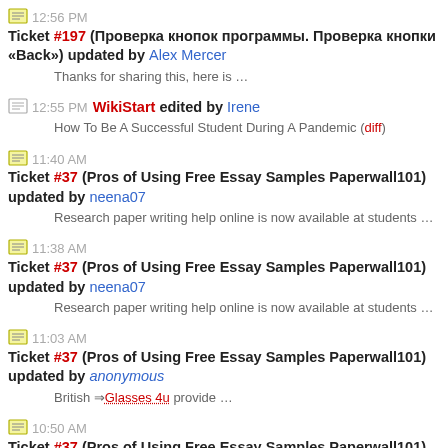12:56 PM Ticket #197 (Проверка кнопок программы. Проверка кнопки «Back») updated by Alex Mercer — Thanks for sharing this, here is …
12:55 PM WikiStart edited by Irene — How To Be A Successful Student During A Pandemic (diff)
11:40 AM Ticket #37 (Pros of Using Free Essay Samples Paperwall101) updated by neena07 — Research paper writing help online is now available at students …
11:38 AM Ticket #37 (Pros of Using Free Essay Samples Paperwall101) updated by neena07 — Research paper writing help online is now available at students …
11:03 AM Ticket #37 (Pros of Using Free Essay Samples Paperwall101) updated by anonymous — British ⇒ Glasses 4u provide …
10:50 AM Ticket #37 (Pros of Using Free Essay Samples Paperwall101) updated by anonymous — Jagdev Saw Mills, Sirsa - Wholesale Supplier of …